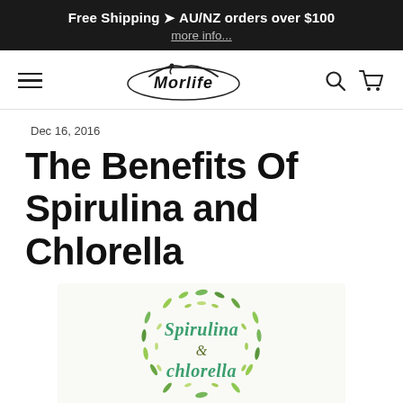Free Shipping 🚚 AU/NZ orders over $100
more info...
[Figure (logo): Morlife brand logo with navigation hamburger menu, search icon, and cart icon]
Dec 16, 2016
The Benefits Of Spirulina and Chlorella
[Figure (illustration): Decorative wreath of green leaves surrounding the text 'Spirulina & chlorella' in green cursive script]